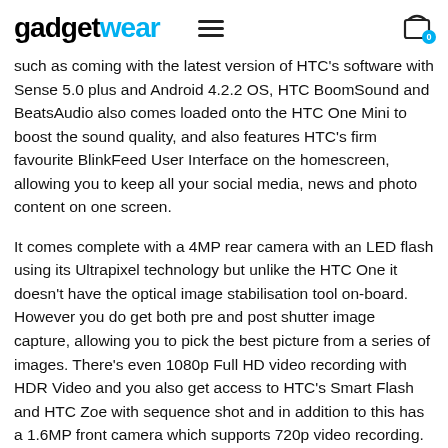gadgetwear
such as coming with the latest version of HTC's software with Sense 5.0 plus and Android 4.2.2 OS, HTC BoomSound and BeatsAudio also comes loaded onto the HTC One Mini to boost the sound quality, and also features HTC's firm favourite BlinkFeed User Interface on the homescreen, allowing you to keep all your social media, news and photo content on one screen.
It comes complete with a 4MP rear camera with an LED flash using its Ultrapixel technology but unlike the HTC One it doesn't have the optical image stabilisation tool on-board. However you do get both pre and post shutter image capture, allowing you to pick the best picture from a series of images. There's even 1080p Full HD video recording with HDR Video and you also get access to HTC's Smart Flash and HTC Zoe with sequence shot and in addition to this has a 1.6MP front camera which supports 720p video recording.
The HTC One is due to go on sale anytime soon, with both